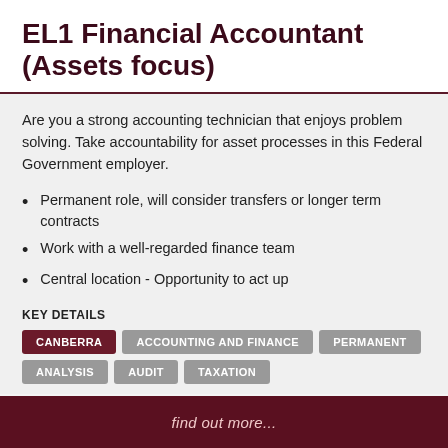EL1 Financial Accountant (Assets focus)
Are you a strong accounting technician that enjoys problem solving. Take accountability for asset processes in this Federal Government employer.
Permanent role, will consider transfers or longer term contracts
Work with a well-regarded finance team
Central location - Opportunity to act up
KEY DETAILS
CANBERRA | ACCOUNTING AND FINANCE | PERMANENT | ANALYSIS | AUDIT | TAXATION
find out more...